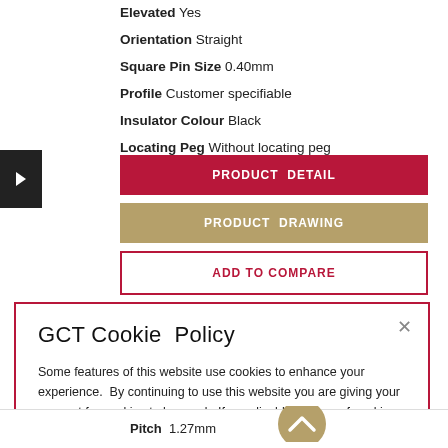Elevated  Yes
Orientation  Straight
Square Pin Size  0.40mm
Profile  Customer specifiable
Insulator Colour  Black
Locating Peg  Without locating peg
PRODUCT DETAIL
PRODUCT DRAWING
ADD TO COMPARE
GCT Cookie Policy
Some features of this website use cookies to enhance your experience. By continuing to use this website you are giving your consent for cookies to be used. If you disable the use of cookies in your browser, some features of the website may not function correctly. For more information on our use of cookies and your data, see our updated Privacy Policy.
Pitch  1.27mm